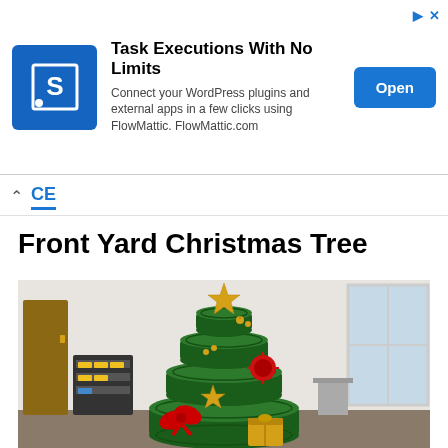[Figure (infographic): Advertisement banner: Task Executions With No Limits - Connect your WordPress plugins and external apps in a few clicks using FlowMattic. FlowMattic.com. Blue logo with 'S' icon. Open button.]
CE
Front Yard Christmas Tree
[Figure (photo): Photo of a Christmas tree made from stacked green-painted tires, decorated with a gold star on top, gold star ornament, red sunburst ornament, red bow, gold gift box ornament, and small bell ornaments. Located inside what appears to be an automotive shop or garage setting.]